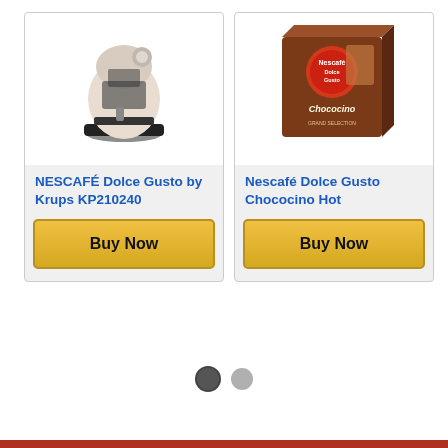[Figure (photo): NESCAFÉ Dolce Gusto by Krups KP210240 coffee machine in cream/white color on black base]
NESCAFÉ Dolce Gusto by Krups KP210240
Buy Now
[Figure (photo): Nescafé Dolce Gusto Chococino Hot product box in brown packaging]
Nescafé Dolce Gusto Chococino Hot
Buy Now